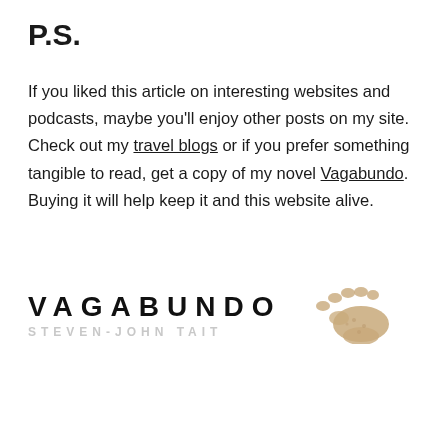P.S.
If you liked this article on interesting websites and podcasts, maybe you'll enjoy other posts on my site. Check out my travel blogs or if you prefer something tangible to read, get a copy of my novel Vagabundo. Buying it will help keep it and this website alive.
[Figure (logo): Vagabundo book logo with text 'VAGABUNDO' in bold uppercase letters, 'STEVEN-JOHN TAIT' in light gray below, and a sandy footprint illustration to the right]